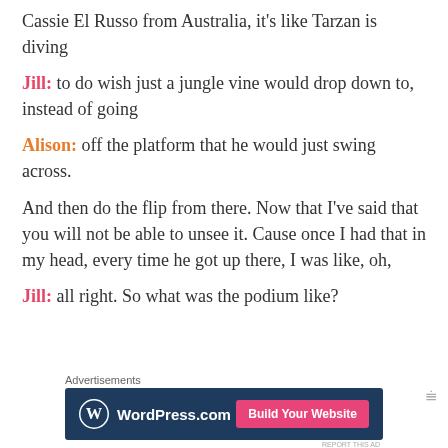Cassie El Russo from Australia, it's like Tarzan is diving
Jill: to do wish just a jungle vine would drop down to, instead of going
Alison: off the platform that he would just swing across.
And then do the flip from there. Now that I've said that you will not be able to unsee it. Cause once I had that in my head, every time he got up there, I was like, oh,
Jill: all right. So what was the podium like?
[Figure (screenshot): WordPress.com advertisement banner with blue background, WordPress logo, and 'Build Your Website' pink button]